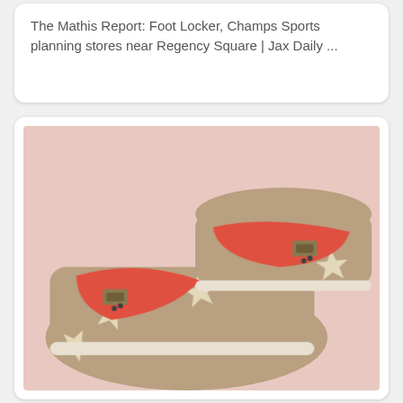The Mathis Report: Foot Locker, Champs Sports planning stores near Regency Square | Jax Daily ...
[Figure (photo): A pair of coral/red leather sandals with wooden platform soles decorated with cream-colored starfish patterns, placed on a light pink fluffy surface.]